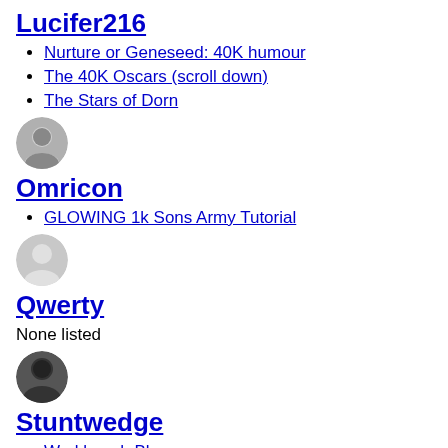Lucifer216
Nurture or Geneseed: 40K humour
The 40K Oscars (scroll down)
The Stars of Dorn
[Figure (photo): Small circular avatar photo of a person]
Omricon
GLOWING 1k Sons Army Tutorial
[Figure (photo): Small circular avatar placeholder (grey silhouette)]
Qwerty
None listed
[Figure (photo): Small circular avatar photo of a person with dark hair]
Stuntwedge
Workbench Blog